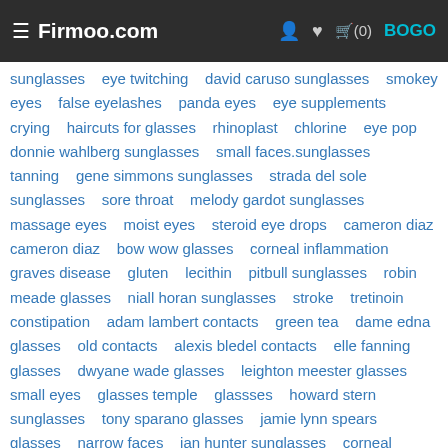≡ Firmoo.com  [user icon] [heart icon] [cart](0) BOGO
sunglasses   eye twitching   david caruso sunglasses   smokey eyes   false eyelashes   panda eyes   eye supplements   crying   haircuts for glasses   rhinoplast   chlorine   eye pop   donnie wahlberg sunglasses   small faces.sunglasses   tanning   gene simmons sunglasses   strada del sole sunglasses   sore throat   melody gardot sunglasses   massage eyes   moist eyes   steroid eye drops   cameron diaz cameron diaz   bow wow glasses   corneal inflammation   graves disease   gluten   lecithin   pitbull sunglasses   robin meade glasses   niall horan sunglasses   stroke   tretinoin   constipation   adam lambert contacts   green tea   dame edna glasses   old contacts   alexis bledel contacts   elle fanning glasses   dwyane wade glasses   leighton meester glasses   small eyes   glasses temple   glassses   howard stern sunglasses   tony sparano glasses   jamie lynn spears glasses   narrow faces   ian hunter sunglasses   corneal swelling   corneal haze   corneal